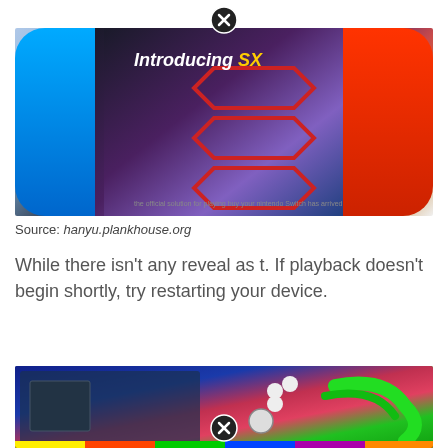[Figure (photo): Nintendo Switch gaming console being held by two hands, with cyan/blue Joy-Con on left and red Joy-Con on right. Screen displays 'Introducing SX' text overlay with a geometric logo and small caption at bottom.]
Source: hanyu.plankhouse.org
While there isn't any reveal as t. If playback doesn't begin shortly, try restarting your device.
[Figure (photo): Colorful modded Nintendo Switch with pink/red body, exposed circuit board on left side, white buttons, analog stick, and bright green cables/tubes coming out of the right side. Rainbow-colored border visible.]